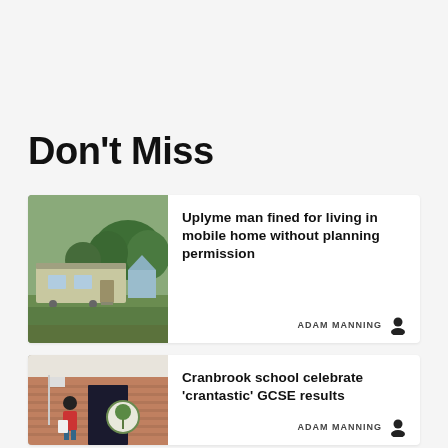Don't Miss
[Figure (photo): Photo of a green mobile/static home caravan on grass with trees in background and a tent or awning beside it]
Uplyme man fined for living in mobile home without planning permission
ADAM MANNING
[Figure (photo): Photo of a young man in a red t-shirt holding papers, standing outside a brick school building with a tree logo sign (Cranbrook school)]
Cranbrook school celebrate 'crantastic' GCSE results
ADAM MANNING